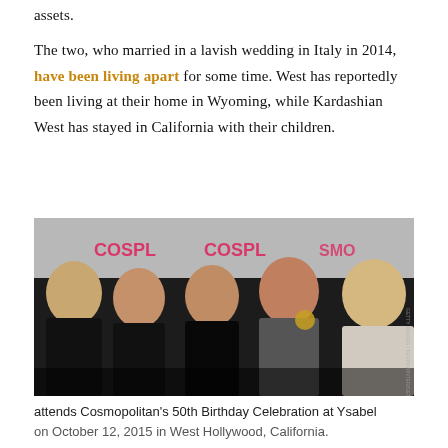assets.
The two, who married in a lavish wedding in Italy in 2014, have been living apart for some time. West has reportedly been living at their home in Wyoming, while Kardashian West has stayed in California with their children.
[Figure (photo): Five women posing at what appears to be a red carpet event for Cosmopolitan's 50th Birthday Celebration. They are wearing black and light-colored outfits. A Cosmopolitan banner is visible in the background.]
attends Cosmopolitan's 50th Birthday Celebration at Ysabel on October 12, 2015 in West Hollywood, California.